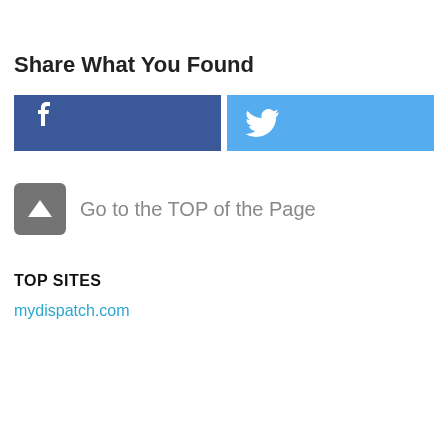Share What You Found
[Figure (infographic): Facebook share button (dark blue) and Twitter share button (light blue) side by side]
[Figure (infographic): Gray rounded square button with white upward caret/arrow icon, labeled 'Go to the TOP of the Page']
TOP SITES
mydispatch.com